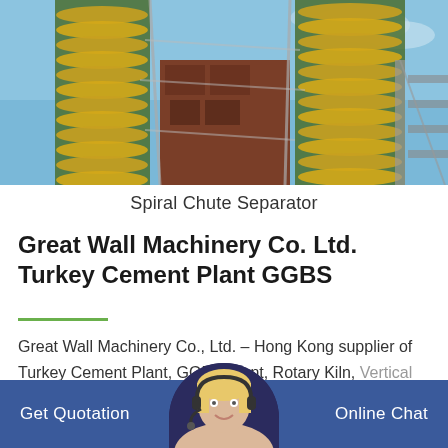[Figure (photo): Industrial spiral chute separator machinery photographed from below, showing yellow/green spiral structures and metal framework against blue sky]
Spiral Chute Separator
Great Wall Machinery Co. Ltd. Turkey Cement Plant GGBS
Great Wall Machinery Co., Ltd. - Hong Kong supplier of Turkey Cement Plant, GGBS Plant, Rotary Kiln, Vertical Roller Mill, Ball Mill, Rotary...
Get Quotation   Online Chat